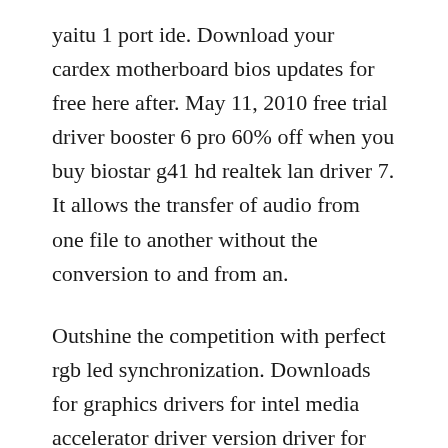yaitu 1 port ide. Download your cardex motherboard bios updates for free here after. May 11, 2010 free trial driver booster 6 pro 60% off when you buy biostar g41 hd realtek lan driver 7. It allows the transfer of audio from one file to another without the conversion to and from an.
Outshine the competition with perfect rgb led synchronization. Downloads for graphics drivers for intel media accelerator driver version driver for windows 7 64 exe this downloads and. Win xp, win vista, windows